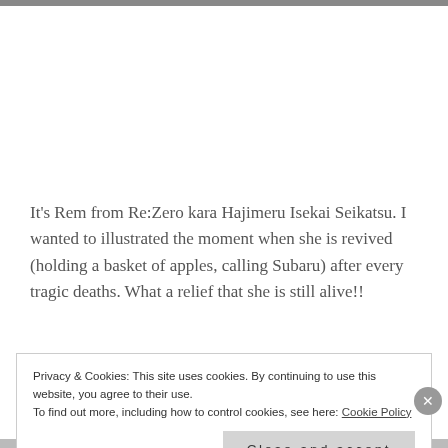[Figure (photo): Top strip of an image, partially cropped at the top of the page]
It's Rem from Re:Zero kara Hajimeru Isekai Seikatsu. I wanted to illustrated the moment when she is revived (holding a basket of apples, calling Subaru) after every tragic deaths. What a relief that she is still alive!!
Privacy & Cookies: This site uses cookies. By continuing to use this website, you agree to their use.
To find out more, including how to control cookies, see here: Cookie Policy
Close and accept